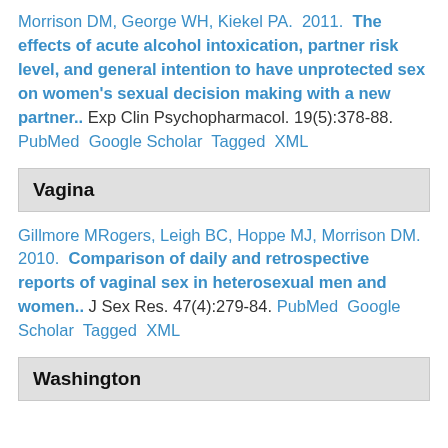Morrison DM, George WH, Kiekel PA. 2011. The effects of acute alcohol intoxication, partner risk level, and general intention to have unprotected sex on women's sexual decision making with a new partner.. Exp Clin Psychopharmacol. 19(5):378-88. PubMed Google Scholar Tagged XML
Vagina
Gillmore MRogers, Leigh BC, Hoppe MJ, Morrison DM. 2010. Comparison of daily and retrospective reports of vaginal sex in heterosexual men and women.. J Sex Res. 47(4):279-84. PubMed Google Scholar Tagged XML
Washington